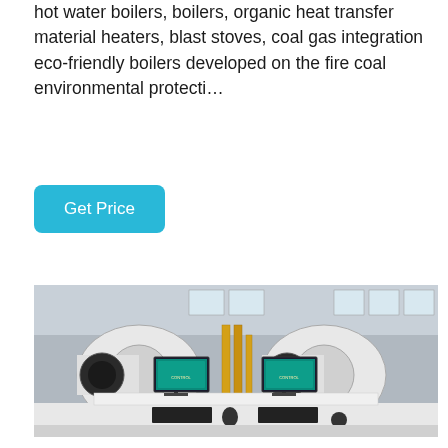hot water boilers, boilers, organic heat transfer material heaters, blast stoves, coal gas integration eco-friendly boilers developed on the fire coal environmental protecti…
Get Price
[Figure (photo): Industrial boiler facility showing two large cylindrical white boilers in a factory setting, with a control station in the foreground featuring two monitors displaying control software, keyboards, and a mouse on a white desk.]